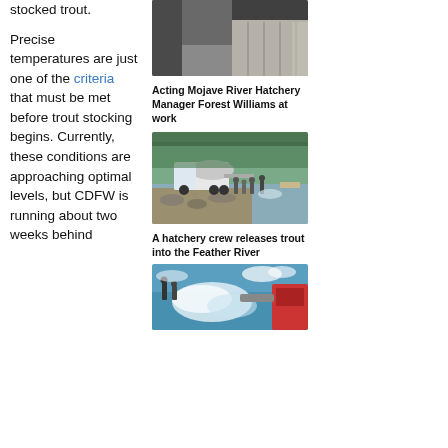stocked trout.
Precise temperatures are just one of the criteria that must be met before trout stocking begins. Currently, these conditions are approaching optimal levels, but CDFW is running about two weeks behind
[Figure (photo): Photo of Acting Mojave River Hatchery Manager Forest Williams at work, showing industrial/hatchery facility]
Acting Mojave River Hatchery Manager Forest Williams at work
[Figure (photo): Photo of a hatchery crew releasing trout into the Feather River, showing a large tanker truck near the riverbank with several people watching]
A hatchery crew releases trout into the Feather River
[Figure (photo): Photo showing water splashing, people and equipment during a trout stocking operation]